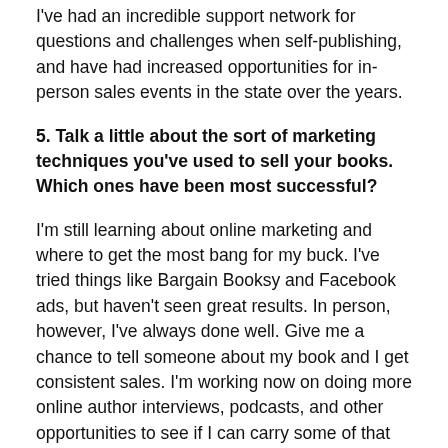I've had an incredible support network for questions and challenges when self-publishing, and have had increased opportunities for in-person sales events in the state over the years.
5. Talk a little about the sort of marketing techniques you've used to sell your books. Which ones have been most successful?
I'm still learning about online marketing and where to get the most bang for my buck. I've tried things like Bargain Booksy and Facebook ads, but haven't seen great results. In person, however, I've always done well. Give me a chance to tell someone about my book and I get consistent sales. I'm working now on doing more online author interviews, podcasts, and other opportunities to see if I can carry some of that success over into the online sphere.